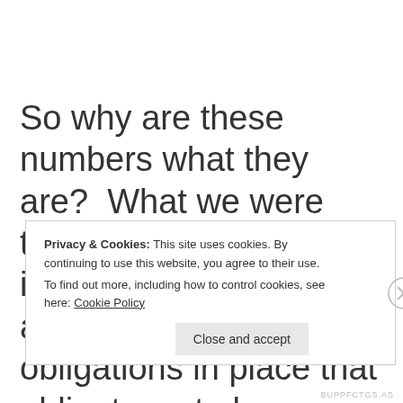So why are these numbers what they are?  What we were told last year on health insurance is that there are contractual obligations in place that obligate us to keep
Privacy & Cookies: This site uses cookies. By continuing to use this website, you agree to their use.
To find out more, including how to control cookies, see here: Cookie Policy
Close and accept